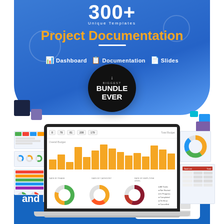300+
Unique Templates
Project Documentation
Dashboard  Documentation  Slides
BIGGEST
BUNDLE
EVER
[Figure (screenshot): Laptop mockup showing a project management dashboard with bar charts and donut charts, flanked by smaller spreadsheet and chart thumbnail images on left and right sides]
Save Time
and Money